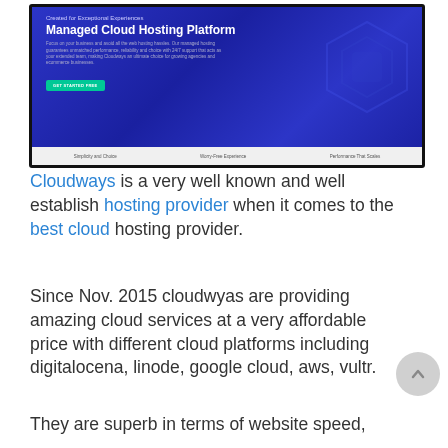[Figure (screenshot): Screenshot of Cloudways website showing 'Created for Exceptional Experiences', 'Managed Cloud Hosting Platform' heading, descriptive text, a green 'GET STARTED FREE' button, and a bottom navigation bar with options including 'Simplicity and Choice', 'Worry-Free Experience', 'Performance That Scales']
Cloudways is a very well known and well establish hosting provider when it comes to the best cloud hosting provider.
Since Nov. 2015 cloudwyas are providing amazing cloud services at a very affordable price with different cloud platforms including digitalocena, linode, google cloud, aws, vultr.
They are superb in terms of website speed,